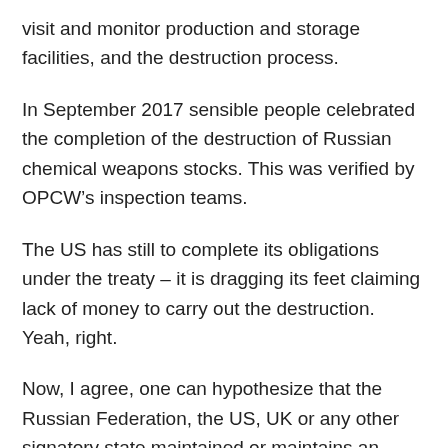visit and monitor production and storage facilities, and the destruction process.
In September 2017 sensible people celebrated the completion of the destruction of Russian chemical weapons stocks. This was verified by OPCW’s inspection teams.
The US has still to complete its obligations under the treaty – it is dragging its feet claiming lack of money to carry out the destruction. Yeah, right.
Now, I agree, one can hypothesize that the Russian Federation, the US, UK or any other signatory state maintained or maintains an undeclared, secret programme. This would violate the treaty and all efforts should be made